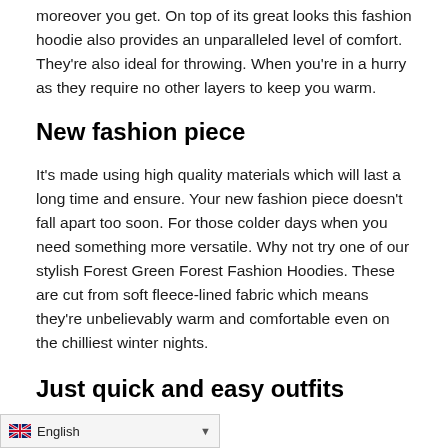moreover you get. On top of its great looks this fashion hoodie also provides an unparalleled level of comfort. They're also ideal for throwing. When you're in a hurry as they require no other layers to keep you warm.
New fashion piece
It's made using high quality materials which will last a long time and ensure. Your new fashion piece doesn't fall apart too soon. For those colder days when you need something more versatile. Why not try one of our stylish Forest Green Forest Fashion Hoodies. These are cut from soft fleece-lined fabric which means they're unbelievably warm and comfortable even on the chilliest winter nights.
Just quick and easy outfits